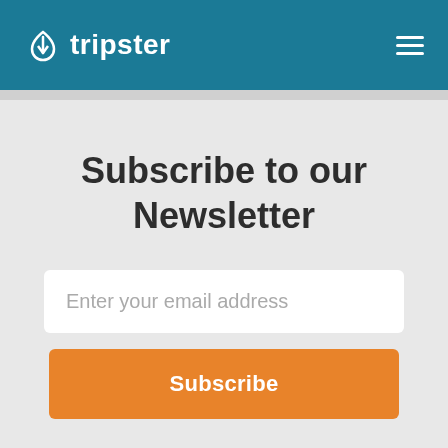tripster
Subscribe to our Newsletter
Enter your email address
Subscribe